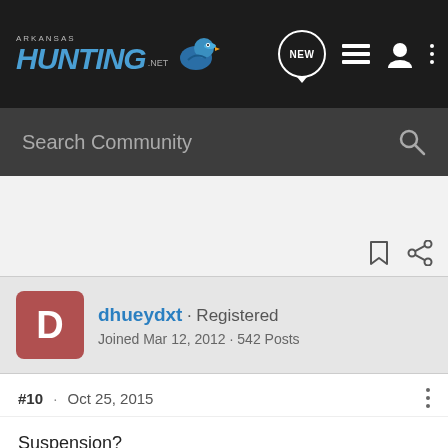Arkansas Hunting .net — navigation bar with logo, NEW bubble, list icon, user icon, more options
Search Community
[Figure (screenshot): White/gray empty space area with bookmark and share icons at bottom right]
dhueydxt · Registered
Joined Mar 12, 2012 · 542 Posts
#10  ·  Oct 25, 2015
Suspension?